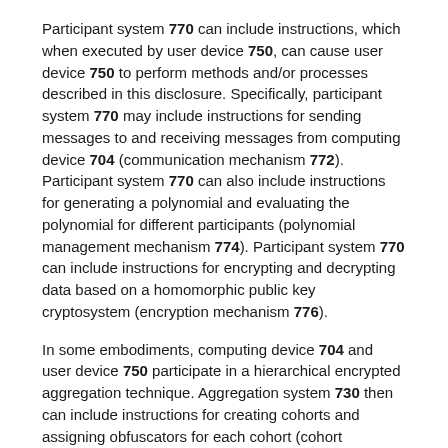Participant system 770 can include instructions, which when executed by user device 750, can cause user device 750 to perform methods and/or processes described in this disclosure. Specifically, participant system 770 may include instructions for sending messages to and receiving messages from computing device 704 (communication mechanism 772). Participant system 770 can also include instructions for generating a polynomial and evaluating the polynomial for different participants (polynomial management mechanism 774). Participant system 770 can include instructions for encrypting and decrypting data based on a homomorphic public key cryptosystem (encryption mechanism 776).
In some embodiments, computing device 704 and user device 750 participate in a hierarchical encrypted aggregation technique. Aggregation system 730 then can include instructions for creating cohorts and assigning obfuscators for each cohort (cohort management mechanism 738). Aggregation system 730 then can also include instructions for masking partial value of interest from user device 750 (cohort management mechanism